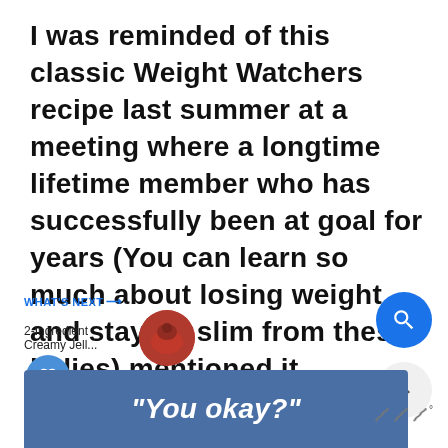I was reminded of this classic Weight Watchers recipe last summer at a meeting where a longtime lifetime member who has successfully been at goal for years (You can learn so much about losing weight and staying slim from these ladies) mentioned it.
[Figure (screenshot): Social media UI elements: heart/like button (blue circle), share button, count '1.8K', scroll-up button (gray circle with caret)]
[Figure (infographic): WHAT'S NEXT arrow label with '2-Ingredient Creamy Jell...' text and a thumbnail image]
[Figure (screenshot): Blue search button (magnifying glass icon, bottom right)]
[Figure (screenshot): Ad banner with blue background and italic bold text: "You okay?" and a wave/logo mark on the right]